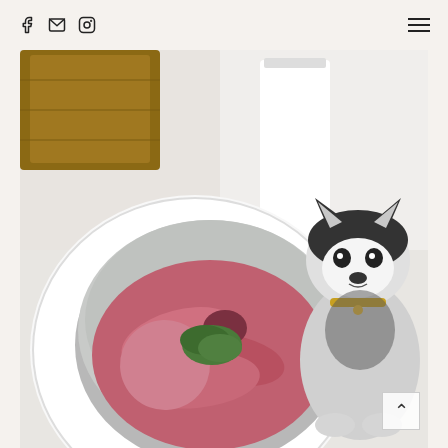Social media icons: Facebook, Email, Instagram; Hamburger menu
[Figure (photo): A husky dog watching a person hold a white kitchen scale with a stainless steel bowl containing raw meat (raw dog food) topped with green herbs, scale displaying 295g. Kitchen background with wood and white surfaces.]